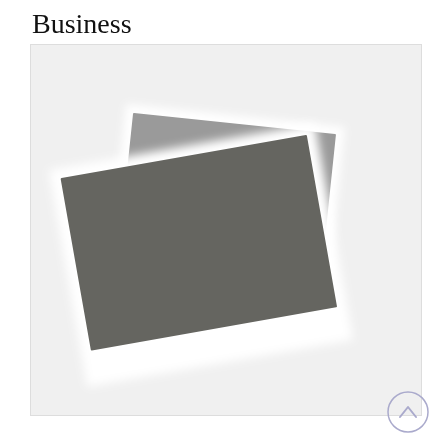Business
[Figure (photo): Two overlapping polaroid-style photographs stacked at angles, both showing blurred dark gray content, displayed against a light gray background]
[Figure (other): Scroll-to-top button: circle with upward-pointing chevron, bottom-right corner]